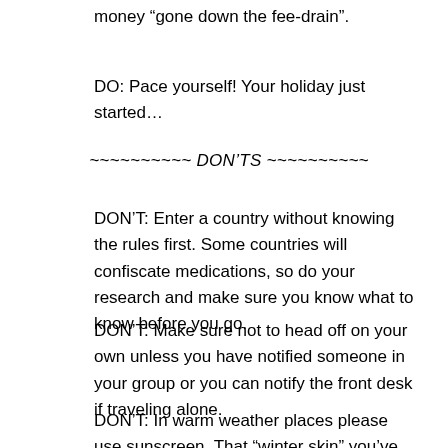money “gone down the fee-drain”.
DO: Pace yourself! Your holiday just started…
~~~~~~~~~~ DON’TS ~~~~~~~~~~
DON’T: Enter a country without knowing the rules first. Some countries will confiscate medications, so do your research and make sure you know what to know before you go.
DON’T: Make sure not to head off on your own unless you have notified someone in your group or you can notify the front desk if traveling alone.
DON’T: In warm weather places please use sunscreen. That “winter skin” you’ve lived in since the end of last